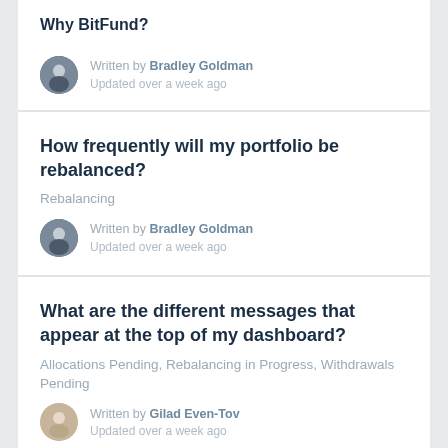Why BitFund?
Written by Bradley Goldman
Updated over a week ago
How frequently will my portfolio be rebalanced?
Rebalancing
Written by Bradley Goldman
Updated over a week ago
What are the different messages that appear at the top of my dashboard?
Allocations Pending, Rebalancing in Progress, Withdrawals Pending
Written by Gilad Even-Tov
Updated over a week ago